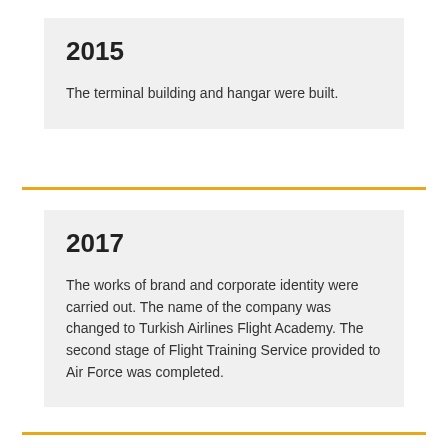2015
The terminal building and hangar were built.
2017
The works of brand and corporate identity were carried out. The name of the company was changed to Turkish Airlines Flight Academy. The second stage of Flight Training Service provided to Air Force was completed.